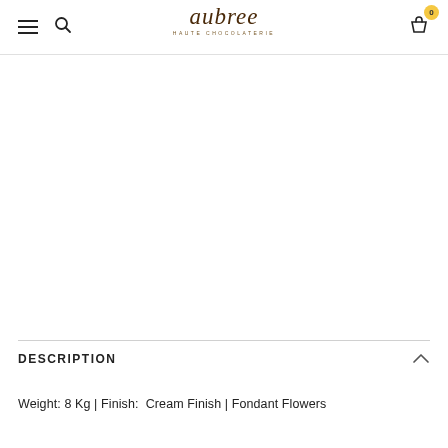aubree HAUTE CHOCOLATERIE
DESCRIPTION
Weight: 8 Kg | Finish:  Cream Finish | Fondant Flowers